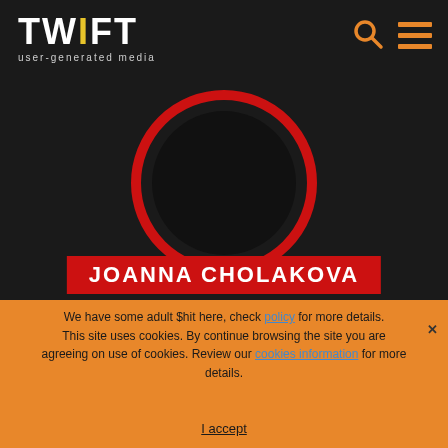TWIFT user-generated media
[Figure (logo): TWIFT logo with yellow 'I', subtitle 'user-generated media']
[Figure (illustration): Dark circular profile avatar with red ring border on dark background]
JOANNA CHOLAKOVA
We have some adult $hit here, check policy for more details. This site uses cookies. By continue browsing the site you are agreeing on use of cookies. Review our cookies information for more details.
I accept